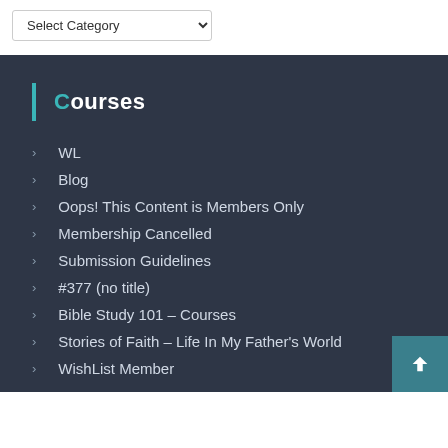Select Category
Courses
WL
Blog
Oops! This Content is Members Only
Membership Cancelled
Submission Guidelines
#377 (no title)
Bible Study 101 – Courses
Stories of Faith – Life In My Father's World
WishList Member